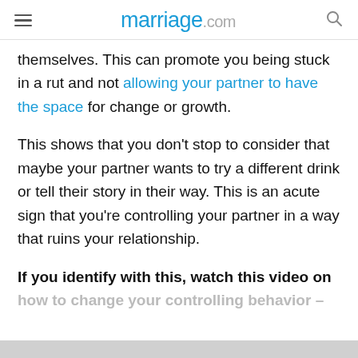marriage.com
themselves. This can promote you being stuck in a rut and not allowing your partner to have the space for change or growth.
This shows that you don't stop to consider that maybe your partner wants to try a different drink or tell their story in their way. This is an acute sign that you're controlling your partner in a way that ruins your relationship.
If you identify with this, watch this video on how to change your controlling behavior –